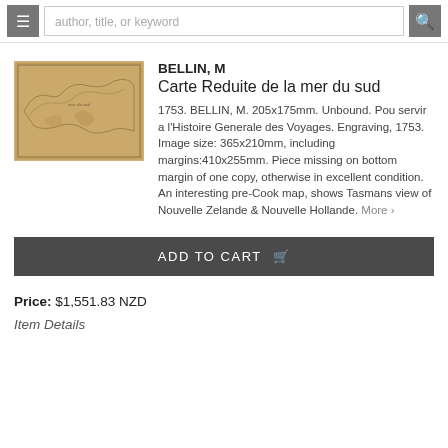author, title, or keyword
[Figure (map): Thumbnail image of an antique map — Carte Reduite de la mer du sud, aged parchment-colored engraving showing coastlines]
BELLIN, M
Carte Reduite de la mer du sud
1753. BELLIN, M. 205x175mm. Unbound. Pou servir a l'Histoire Generale des Voyages. Engraving, 1753. Image size: 365x210mm, including margins:410x255mm. Piece missing on bottom margin of one copy, otherwise in excellent condition. An interesting pre-Cook map, shows Tasmans view of Nouvelle Zelande & Nouvelle Hollande. More >
ADD TO CART
Price: $1,551.83 NZD
Item Details